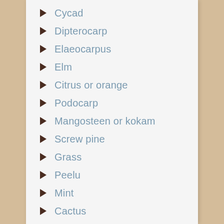Cycad
Dipterocarp
Elaeocarpus
Elm
Citrus or orange
Podocarp
Mangosteen or kokam
Screw pine
Grass
Peelu
Mint
Cactus
Holly
Papaya
Cinnamon